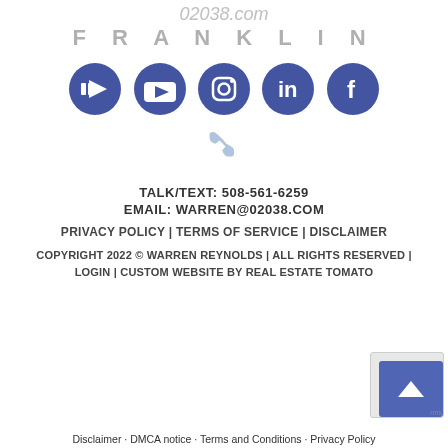[Figure (logo): 02038.com Franklin website logo in grey/silver colors]
[Figure (infographic): Social media icons: YouTube, Instagram, LinkedIn, Facebook — all in blue circles]
[Figure (illustration): Light blue/grey phone handset icon]
TALK/TEXT: 508-561-6259
EMAIL: WARREN@02038.COM
PRIVACY POLICY | TERMS OF SERVICE | DISCLAIMER
COPYRIGHT 2022 © WARREN REYNOLDS | ALL RIGHTS RESERVED | LOGIN | CUSTOM WEBSITE BY REAL ESTATE TOMATO
Disclaimer · DMCA notice · Terms and Conditions · Privacy Policy